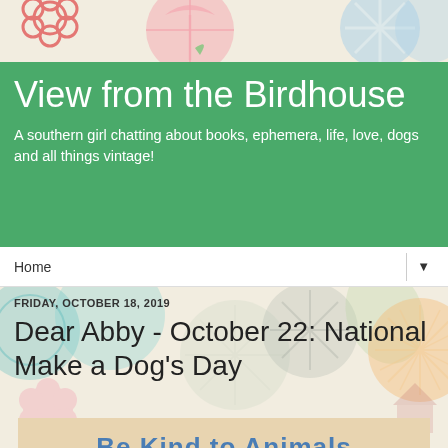[Figure (illustration): Decorative background with vintage-style circular shapes, flowers, snowflakes, and patterns in teal, pink, orange, and green on a cream background]
View from the Birdhouse
A southern girl chatting about books, ephemera, life, love, dogs and all things vintage!
Home ▼
FRIDAY, OCTOBER 18, 2019
Dear Abby - October 22: National Make a Dog's Day
[Figure (illustration): Vintage illustration of a smiling girl with pigtails hugging a dog and a cat, with text 'Be Kind to Animals' arched above in blue letters]